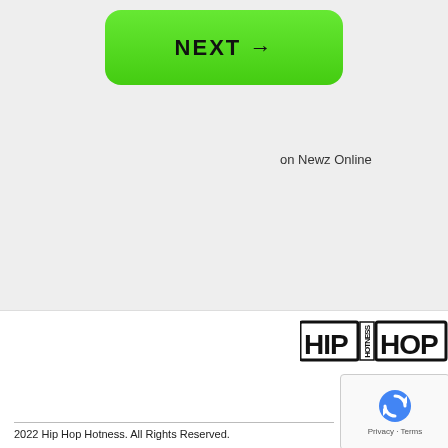[Figure (other): Green NEXT button with arrow, rounded rectangle]
on Newz Online
[Figure (logo): Hip Hop Hotness logo with block letters and vertical HOTNESS text between HIP and HOP]
[Figure (other): reCAPTCHA widget showing recycling-arrow icon with Privacy and Terms links]
2022 Hip Hop Hotness. All Rights Reserved.